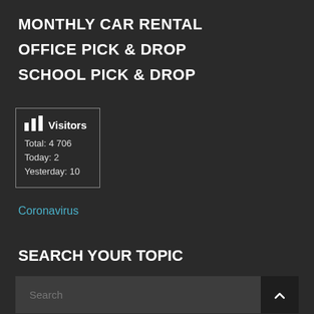MONTHLY CAR RENTAL
OFFICE PICK & DROP
SCHOOL PICK & DROP
[Figure (infographic): Visitors widget showing bar chart icon with total visitors 4 706, today 2, yesterday 10]
Coronavirus
SEARCH YOUR TOPIC
Search